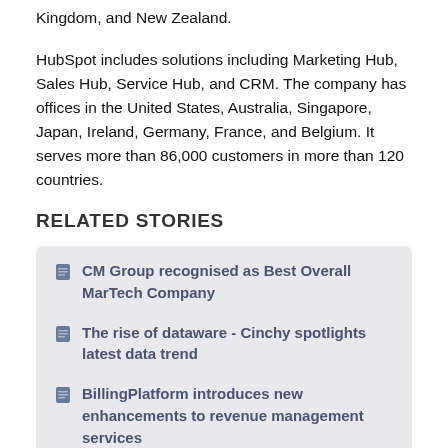Kingdom, and New Zealand.
HubSpot includes solutions including Marketing Hub, Sales Hub, Service Hub, and CRM. The company has offices in the United States, Australia, Singapore, Japan, Ireland, Germany, France, and Belgium. It serves more than 86,000 customers in more than 120 countries.
RELATED STORIES
CM Group recognised as Best Overall MarTech Company
The rise of dataware - Cinchy spotlights latest data trend
BillingPlatform introduces new enhancements to revenue management services